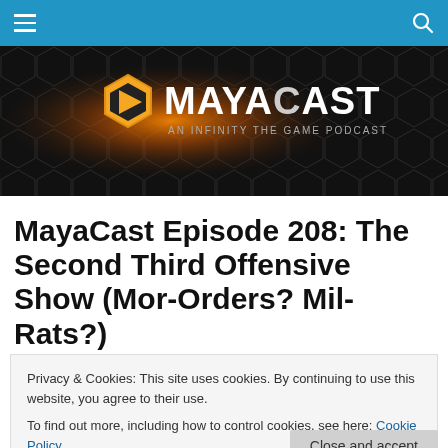MayaCast navigation bar with hamburger menu and search icon
[Figure (logo): MayaCast banner logo — black hexagon background with orange glowing center, MayaCast text logo, subtitle 'An Infinity The Game Podcast']
MayaCast Episode 208: The Second Third Offensive Show (Mor-Orders? Mil-Rats?)
Privacy & Cookies: This site uses cookies. By continuing to use this website, you agree to their use.
To find out more, including how to control cookies, see here: Cookie Policy
Close and accept